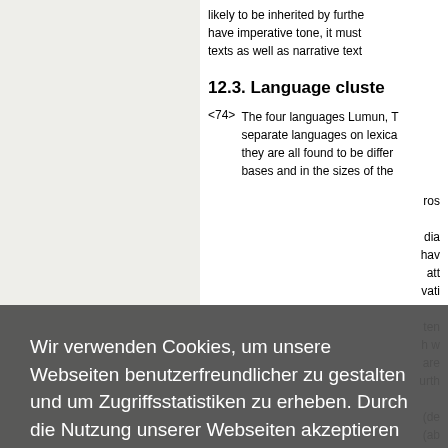likely to be inherited by further... have imperative tone, it must... texts as well as narrative text...
12.3. Language cluste...
<74> The four languages Lumun, T... separate languages on lexico... they are all found to be differ... bases and in the sizes of the...
Wir verwenden Cookies, um unsere Webseiten benutzerfreundlicher zu gestalten und um Zugriffsstatistiken zu erheben. Durch die Nutzung unserer Webseiten akzeptieren Sie die Speicherung von Cookies.
Mehr erfahren.
Cookies akzeptieren